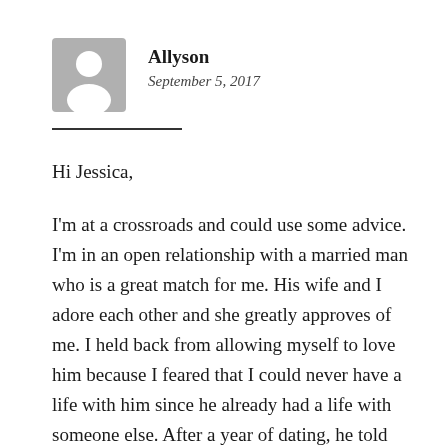[Figure (illustration): Grey circular avatar icon with a white silhouette of a person (head and shoulders), typical placeholder profile image]
Allyson
September 5, 2017
Hi Jessica,
I'm at a crossroads and could use some advice. I'm in an open relationship with a married man who is a great match for me. His wife and I adore each other and she greatly approves of me. I held back from allowing myself to love him because I feared that I could never have a life with him since he already had a life with someone else. After a year of dating, he told me he loved me. I thought on it for a while and